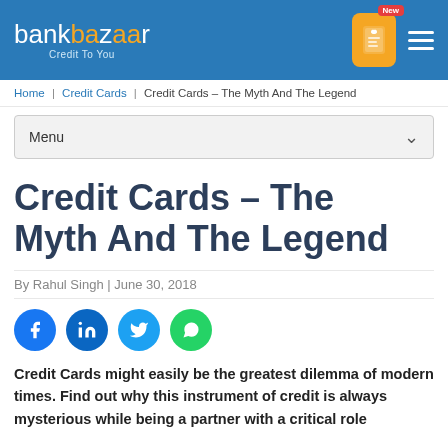bankbazaar – Credit To You
Home | Credit Cards | Credit Cards – The Myth And The Legend
Menu
Credit Cards – The Myth And The Legend
By Rahul Singh | June 30, 2018
[Figure (infographic): Social share buttons: Facebook, LinkedIn, Twitter, WhatsApp]
Credit Cards might easily be the greatest dilemma of modern times. Find out why this instrument of credit is always mysterious while being a partner with a critical role…